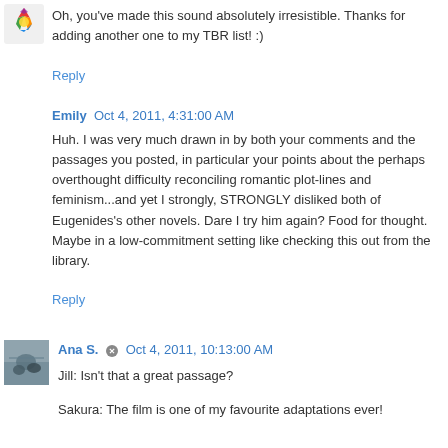Oh, you've made this sound absolutely irresistible. Thanks for adding another one to my TBR list! :)
Reply
Emily  Oct 4, 2011, 4:31:00 AM
Huh. I was very much drawn in by both your comments and the passages you posted, in particular your points about the perhaps overthought difficulty reconciling romantic plot-lines and feminism...and yet I strongly, STRONGLY disliked both of Eugenides's other novels. Dare I try him again? Food for thought. Maybe in a low-commitment setting like checking this out from the library.
Reply
[Figure (photo): Small avatar image of Ana S.]
Ana S.  Oct 4, 2011, 10:13:00 AM
Jill: Isn't that a great passage?
Sakura: The film is one of my favourite adaptations ever!